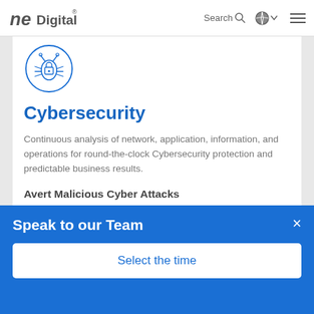ne Digital — Search [globe icon] [hamburger menu]
[Figure (illustration): Blue circle outline containing a bug/malware icon with a padlock in the center and antenna-like lines radiating from top]
Cybersecurity
Continuous analysis of network, application, information, and operations for round-the-clock Cybersecurity protection and predictable business results.
Avert Malicious Cyber Attacks
Speak to our Team
Select the time